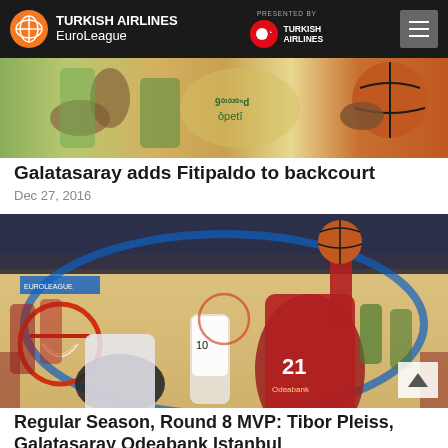TURKISH AIRLINES EuroLeague — PRESENTED BY TURKISH AIRLINES
[Figure (photo): Basketball game action photo strip showing players, hands reaching for ball and a basketball visible on right side]
Galatasaray adds Fitipaldo to backcourt
Dec 27, 2016
[Figure (photo): Basketball arena fisheye photo showing player number 21 in red Galatasaray Odeabank jersey dunking over a defender, crowd in background]
Regular Season, Round 8 MVP: Tibor Pleiss, Galatasaray Odeabank Istanbul